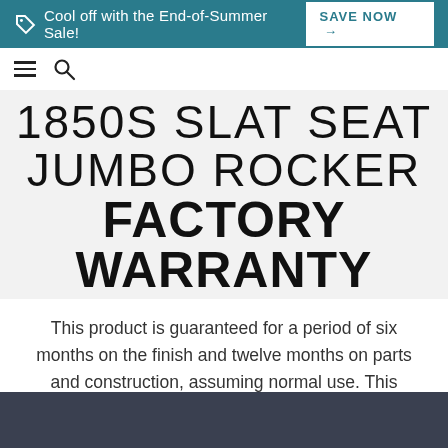Cool off with the End-of-Summer Sale! SAVE NOW →
1850S SLAT SEAT JUMBO ROCKER FACTORY WARRANTY
This product is guaranteed for a period of six months on the finish and twelve months on parts and construction, assuming normal use. This warranty is from the date of purchase. Contact us to send us an inquiry or call 1-800-251-3025 to receive assistance from one of our helpful representatives if you have any questions.